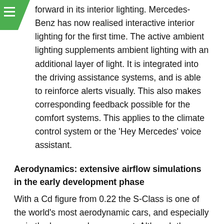forward in its interior lighting. Mercedes-Benz has now realised interactive interior lighting for the first time. The active ambient lighting supplements ambient lighting with an additional layer of light. It is integrated into the driving assistance systems, and is able to reinforce alerts visually. This also makes corresponding feedback possible for the comfort systems. This applies to the climate control system or the 'Hey Mercedes' voice assistant.
Aerodynamics: extensive airflow simulations in the early development phase
With a Cd figure from 0.22 the S-Class is one of the world's most aerodynamic cars, and especially so in the luxury sedan segment. Although the frontal area (A) of the new S-Class has increased slightly to 2.5 sq. m., the drag coefficient has been reduced even further compared to the preceding model. The product of Cd and A is 0.56 sq. m., which is 200 sq. cm less than for the previous model after